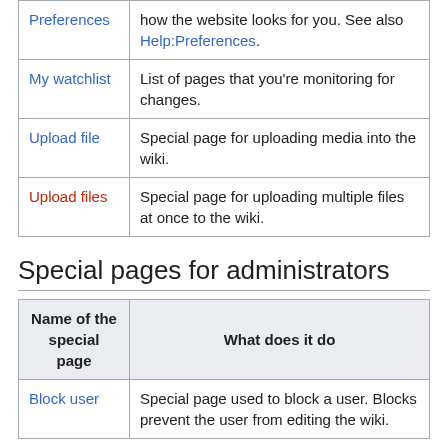| Name of the special page | What does it do |
| --- | --- |
| Preferences | how the website looks for you. See also Help:Preferences. |
| My watchlist | List of pages that you're monitoring for changes. |
| Upload file | Special page for uploading media into the wiki. |
| Upload files | Special page for uploading multiple files at once to the wiki. |
Special pages for administrators
| Name of the special page | What does it do |
| --- | --- |
| Block user | Special page used to block a user. Blocks prevent the user from editing the wiki. |